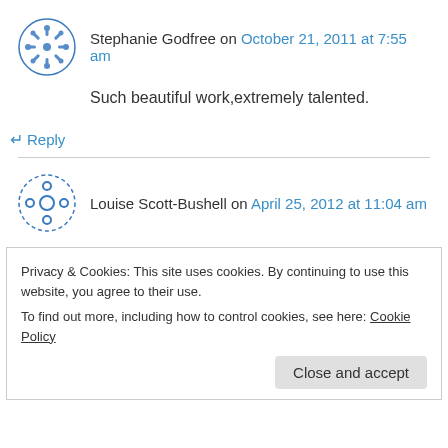Stephanie Godfree on October 21, 2011 at 7:55 am
Such beautiful work,extremely talented.
↳ Reply
Louise Scott-Bushell on April 25, 2012 at 11:04 am
Beautiful inspiring work. Come visit the next time you are in Canada. I like to paint wildlife art too.
↳ Reply
Privacy & Cookies: This site uses cookies. By continuing to use this website, you agree to their use. To find out more, including how to control cookies, see here: Cookie Policy
Close and accept